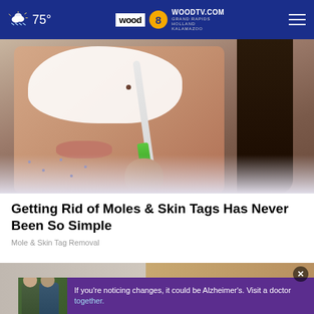75° | WOODTV.COM GRAND RAPIDS HOLLAND KALAMAZOO | wood 8
[Figure (photo): Woman applying white cream/product to her face with a toothbrush, mole visible on nose area]
Getting Rid of Moles & Skin Tags Has Never Been So Simple
Mole & Skin Tag Removal
[Figure (photo): Advertisement banner: two men standing together with text 'If you're noticing changes, it could be Alzheimer's. Visit a doctor together.' and an X close button]